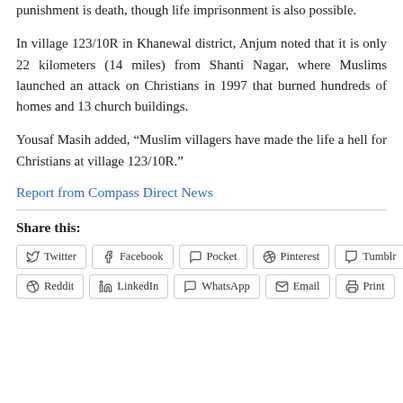punishment is death, though life imprisonment is also possible.
In village 123/10R in Khanewal district, Anjum noted that it is only 22 kilometers (14 miles) from Shanti Nagar, where Muslims launched an attack on Christians in 1997 that burned hundreds of homes and 13 church buildings.
Yousaf Masih added, “Muslim villagers have made the life a hell for Christians at village 123/10R.”
Report from Compass Direct News
Share this:
Twitter
Facebook
Pocket
Pinterest
Tumblr
Reddit
LinkedIn
WhatsApp
Email
Print